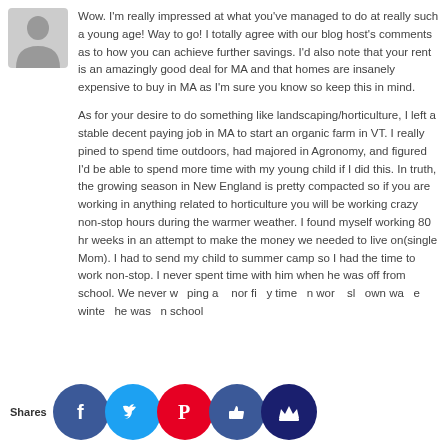[Figure (illustration): Gray silhouette avatar icon of a person]
Wow. I'm really impressed at what you've managed to do at really such a young age! Way to go! I totally agree with our blog host's comments as to how you can achieve further savings. I'd also note that your rent is an amazingly good deal for MA and that homes are insanely expensive to buy in MA as I'm sure you know so keep this in mind.

As for your desire to do something like landscaping/horticulture, I left a stable decent paying job in MA to start an organic farm in VT. I really pined to spend time outdoors, had majored in Agronomy, and figured I'd be able to spend more time with my young child if I did this. In truth, the growing season in New England is pretty compacted so if you are working in anything related to horticulture you will be working crazy non-stop hours during the warmer weather. I found myself working 80 hr weeks in an attempt to make the money we needed to live on(single Mom). I had to send my child to summer camp so I had the time to work non-stop. I never spent time with him when he was off from school. We never w...ping a...nor fi...y time...n wor...sl...own wa...e winte...he was...n school...
Shares